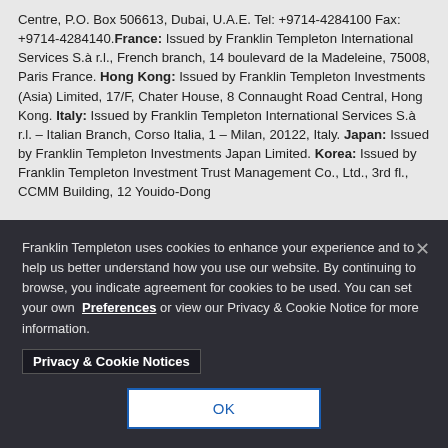Centre, P.O. Box 506613, Dubai, U.A.E. Tel: +9714-4284100 Fax: +9714-4284140. France: Issued by Franklin Templeton International Services S.à r.l., French branch, 14 boulevard de la Madeleine, 75008, Paris France. Hong Kong: Issued by Franklin Templeton Investments (Asia) Limited, 17/F, Chater House, 8 Connaught Road Central, Hong Kong. Italy: Issued by Franklin Templeton International Services S.à r.l. – Italian Branch, Corso Italia, 1 – Milan, 20122, Italy. Japan: Issued by Franklin Templeton Investments Japan Limited. Korea: Issued by Franklin Templeton Investment Trust Management Co., Ltd., 3rd fl., CCMM Building, 12 Youido-Dong
Franklin Templeton uses cookies to enhance your experience and to help us better understand how you use our website. By continuing to browse, you indicate agreement for cookies to be used. You can set your own Preferences or view our Privacy & Cookie Notice for more information.
Privacy & Cookie Notices
OK